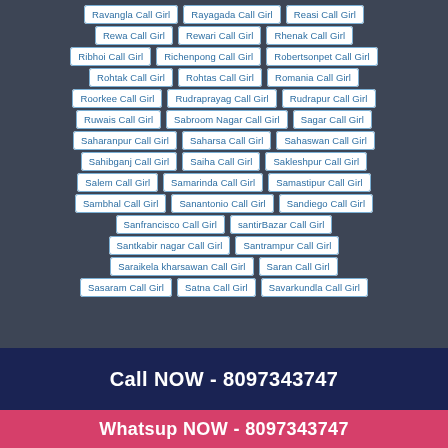Ravangla Call Girl
Rayagada Call Girl
Reasi Call Girl
Rewa Call Girl
Rewari Call Girl
Rhenak Call Girl
Ribhoi Call Girl
Richenpong Call Girl
Robertsonpet Call Girl
Rohtak Call Girl
Rohtas Call Girl
Romania Call Girl
Roorkee Call Girl
Rudraprayag Call Girl
Rudrapur Call Girl
Ruwais Call Girl
Sabroom Nagar Call Girl
Sagar Call Girl
Saharanpur Call Girl
Saharsa Call Girl
Sahaswan Call Girl
Sahibganj Call Girl
Saiha Call Girl
Sakleshpur Call Girl
Salem Call Girl
Samarinda Call Girl
Samastipur Call Girl
Sambhal Call Girl
Sanantonio Call Girl
Sandiego Call Girl
Sanfrancisco Call Girl
santirBazar Call Girl
Santkabir nagar Call Girl
Santrampur Call Girl
Saraikela kharsawan Call Girl
Saran Call Girl
Sasaram Call Girl
Satna Call Girl
Savarkundla Call Girl
Call NOW - 8097343747
Whatsup NOW - 8097343747